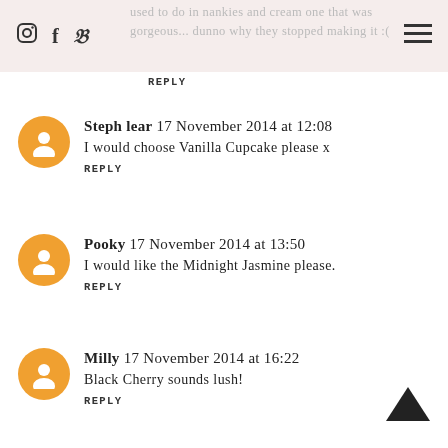used to do in nankies and cream one that was gorgeous... dunno why they stopped making it :(
REPLY
Steph lear 17 November 2014 at 12:08
I would choose Vanilla Cupcake please x
REPLY
Pooky 17 November 2014 at 13:50
I would like the Midnight Jasmine please.
REPLY
Milly 17 November 2014 at 16:22
Black Cherry sounds lush!
REPLY